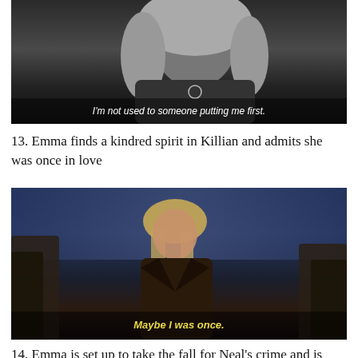[Figure (screenshot): Black and white screenshot of a blonde woman with subtitle: I'm not used to someone putting me first.]
13. Emma finds a kindred spirit in Killian and admits she was once in love
[Figure (screenshot): Color screenshot of a blonde woman in dark jacket standing in rocky setting with yellow subtitle: Maybe I was once.]
14. Emma is set up to take the fall for Neal's crime and is arrested